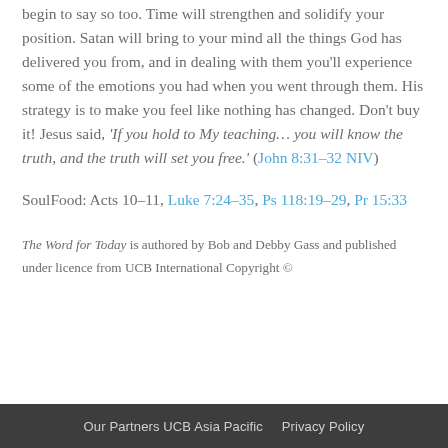begin to say so too. Time will strengthen and solidify your position. Satan will bring to your mind all the things God has delivered you from, and in dealing with them you'll experience some of the emotions you had when you went through them. His strategy is to make you feel like nothing has changed. Don't buy it! Jesus said, 'If you hold to My teaching… you will know the truth, and the truth will set you free.' (John 8:31–32 NIV)
SoulFood: Acts 10–11, Luke 7:24–35, Ps 118:19–29, Pr 15:33
The Word for Today is authored by Bob and Debby Gass and published under licence from UCB International Copyright ©
Our Partners UCB Asia Pacific   Privacy Policy